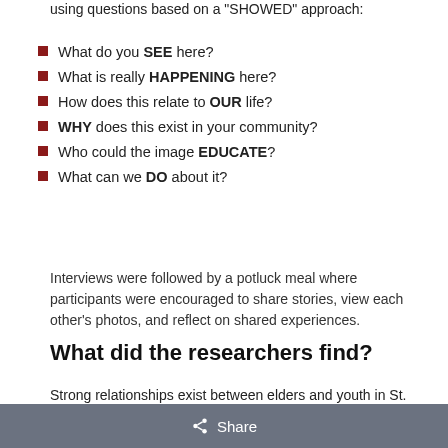using questions based on a "SHOWED" approach:
What do you SEE here?
What is really HAPPENING here?
How does this relate to OUR life?
WHY does this exist in your community?
Who could the image EDUCATE?
What can we DO about it?
Interviews were followed by a potluck meal where participants were encouraged to share stories, view each other's photos, and reflect on shared experiences.
What did the researchers find?
Strong relationships exist between elders and youth in St. Lewis, and these relationships appear to contribute positively to the health and well-being of both the community and its individual elders. Researchers identified three major themes – family, coaching, and tradition
Share